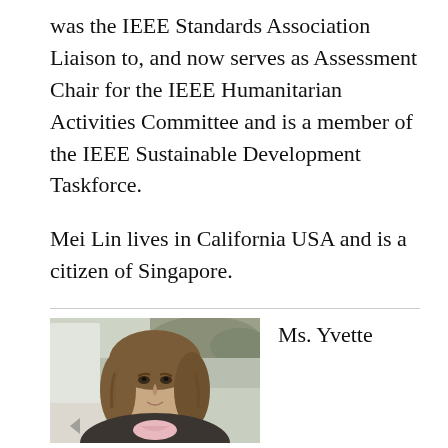was the IEEE Standards Association Liaison to, and now serves as Assessment Chair for the IEEE Humanitarian Activities Committee and is a member of the IEEE Sustainable Development Taskforce.

Mei Lin lives in California USA and is a citizen of Singapore.
[Figure (photo): Headshot photo of Ms. Yvette, a woman with shoulder-length wavy brown hair, wearing a light pink shirt under a dark jacket, photographed outdoors with a blurred background.]
Ms. Yvette